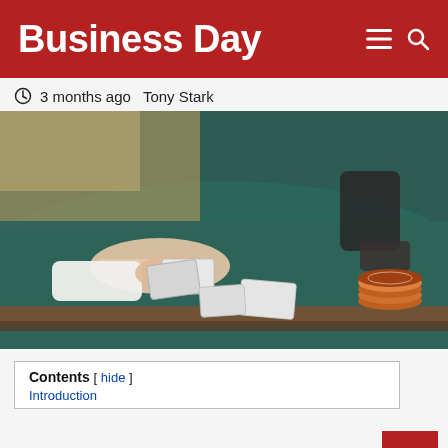Business Day
3 months ago  Tony Stark
[Figure (photo): A casino dealer's hand touching playing cards on a green felt blackjack table, with poker chips visible in the background.]
Contents [hide]
Introduction